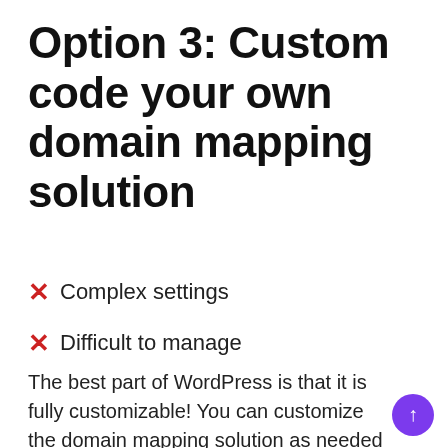Option 3: Custom code your own domain mapping solution
Complex settings
Difficult to manage
The best part of WordPress is that it is fully customizable! You can customize the domain mapping solution as needed